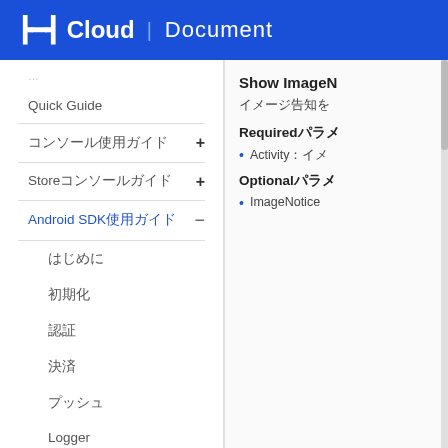NHN Cloud | Document
Quick Guide
コンソール使用ガイド +
Storeコンソールガイド +
Android SDK使用ガイド −
はじめに
初期化
認証
決済
プッシュ
Logger
Show ImageN
イメージ告知を
Requiredパラメ
Activity：イメ
Optionalパラメ
ImageNotice